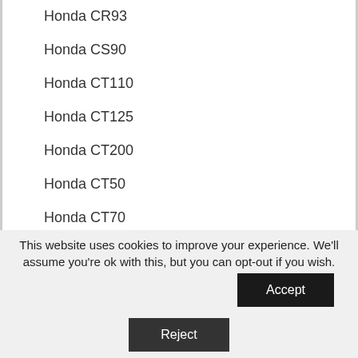Honda CR93
Honda CS90
Honda CT110
Honda CT125
Honda CT200
Honda CT50
Honda CT70
Honda CT90
Honda CX500
Honda CX650
Honda CY50
This website uses cookies to improve your experience. We'll assume you're ok with this, but you can opt-out if you wish.
Accept
Reject